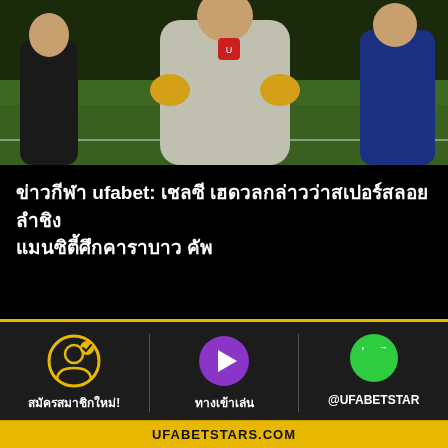[Figure (photo): Football/soccer scene with players on a green pitch, one player in gray/white jacket in center, one in black on left, one in blue on right]
ข่าวกีฬา ufabet: เชลซี เฮดวลกล่าวว่าสเปอร์สลอยลำชิงแมนซิตี้ศึกคาราบาว คัพ
สมัครสมาชิกใหม่!
ทางเข้าเล่น
@UFABETSTAR
UFABETSTARS.COM